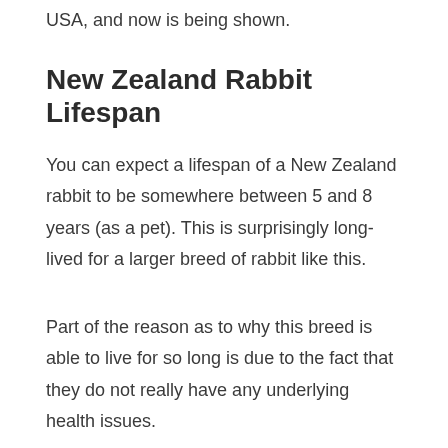USA, and now is being shown.
New Zealand Rabbit Lifespan
You can expect a lifespan of a New Zealand rabbit to be somewhere between 5 and 8 years (as a pet). This is surprisingly long-lived for a larger breed of rabbit like this.
Part of the reason as to why this breed is able to live for so long is due to the fact that they do not really have any underlying health issues.